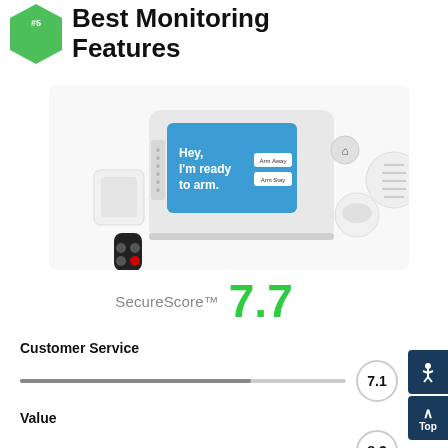#5 Alder™ Best Monitoring Features
[Figure (photo): Alder home security system product photo showing control panel with 'Hey, I'm ready to arm.' display, door/window sensors, key fob, motion detector, and smoke detector on white background]
SecureScore™ 7.7
Customer Service
7.1
Value
8.3
Equipment